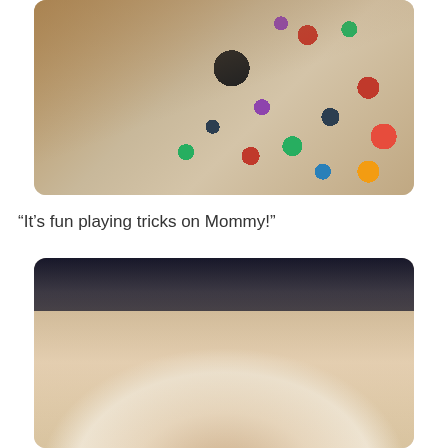[Figure (photo): Close-up photo of a baby wrapped in a colorful polka-dot blanket/onesie with multicolored dots on a beige fabric background]
“It’s fun playing tricks on Mommy!”
[Figure (photo): Close-up photo of the top of a baby's head with fine hair, lying against a white surface, with a dark background at the top]